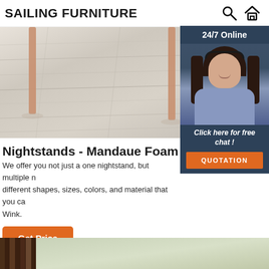SAILING FURNITURE
[Figure (photo): Hero image showing light wood floor with chair legs visible, partial room view]
[Figure (infographic): 24/7 Online customer service popup with woman wearing headset, Click here for free chat, QUOTATION button]
Nightstands - Mandaue Foam Phili
We offer you not just a one nightstand, but multiple n different shapes, sizes, colors, and material that you ca Wink.
[Figure (other): Get Price orange button]
[Figure (photo): Bottom strip showing dark wood and light background, partial view of more product images]